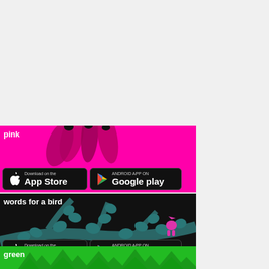[Figure (screenshot): Top gray/white empty area]
[Figure (screenshot): Pink banner with flamingo silhouettes and the label 'pink', containing App Store and Google Play download buttons]
[Figure (screenshot): Black banner with tree branch and pink bird illustration, labeled 'words for a bird', containing App Store and Google Play download buttons]
[Figure (screenshot): Green banner with tree/arrow silhouettes, labeled 'green']